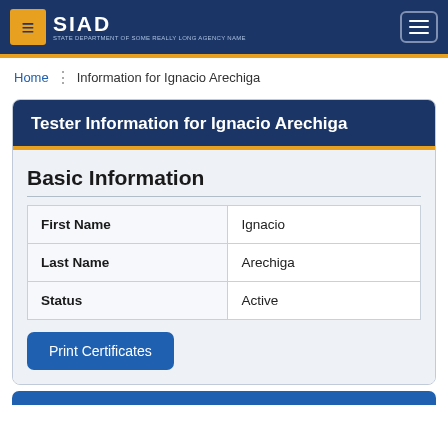SIAD
Home | Information for Ignacio Arechiga
Tester Information for Ignacio Arechiga
Basic Information
|  |  |
| --- | --- |
| First Name | Ignacio |
| Last Name | Arechiga |
| Status | Active |
Print Certificates